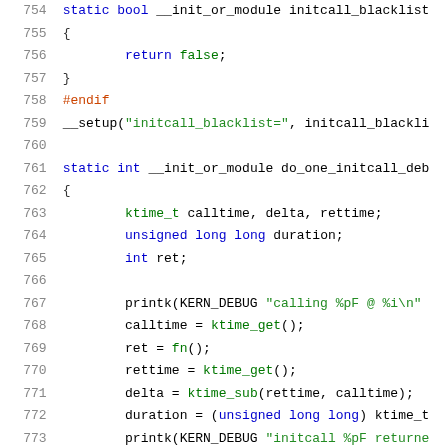Source code listing, lines 754-774, C kernel code